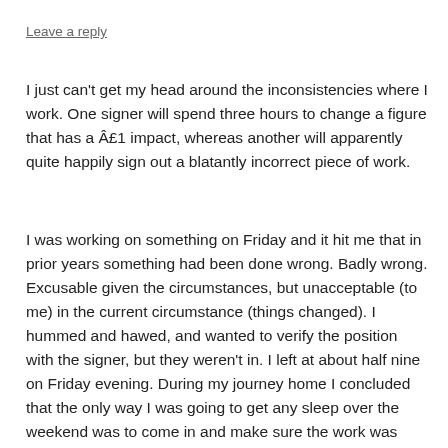Leave a reply
I just can't get my head around the inconsistencies where I work. One signer will spend three hours to change a figure that has a £1 impact, whereas another will apparently quite happily sign out a blatantly incorrect piece of work.
I was working on something on Friday and it hit me that in prior years something had been done wrong. Badly wrong. Excusable given the circumstances, but unacceptable (to me) in the current circumstance (things changed). I hummed and hawed, and wanted to verify the position with the signer, but they weren't in. I left at about half nine on Friday evening. During my journey home I concluded that the only way I was going to get any sleep over the weekend was to come in and make sure the work was done in a technically correct manner. So that's what I did. 9 hours straight on Saturday, and probably another 4 over the last couple of days. I finally